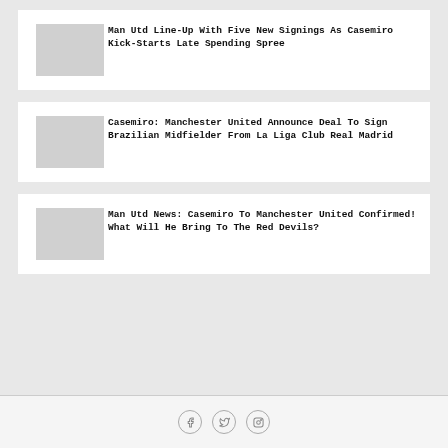Man Utd Line-Up With Five New Signings As Casemiro Kick-Starts Late Spending Spree
Casemiro: Manchester United Announce Deal To Sign Brazilian Midfielder From La Liga Club Real Madrid
Man Utd News: Casemiro To Manchester United Confirmed! What Will He Bring To The Red Devils?
Social icons: Facebook, Twitter, Instagram